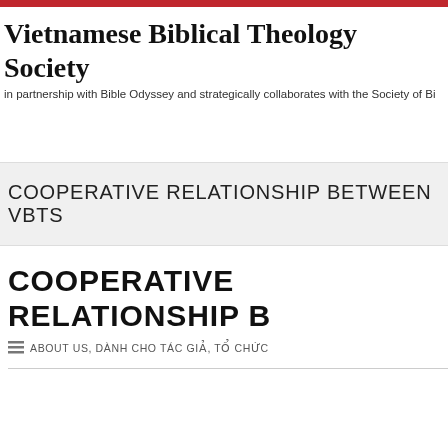Vietnamese Biblical Theology Society
in partnership with Bible Odyssey and strategically collaborates with the Society of Bi
COOPERATIVE RELATIONSHIP BETWEEN VBTS
COOPERATIVE RELATIONSHIP B
ABOUT US, DÀNH CHO TÁC GIẢ, TỔ CHỨC